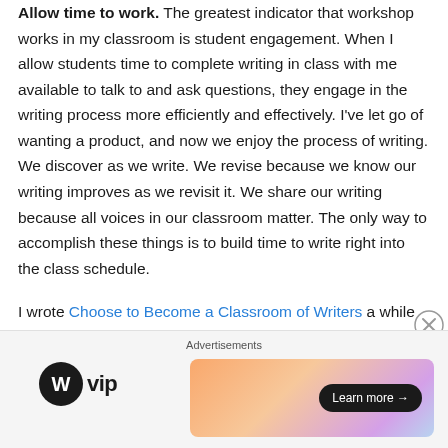Allow time to work. The greatest indicator that workshop works in my classroom is student engagement. When I allow students time to complete writing in class with me available to talk to and ask questions, they engage in the writing process more efficiently and effectively. I've let go of wanting a product, and now we enjoy the process of writing. We discover as we write. We revise because we know our writing improves as we revisit it. We share our writing because all voices in our classroom matter. The only way to accomplish these things is to build time to write right into the class schedule.

I wrote Choose to Become a Classroom of Writers a while ago. I still believe focusing on writing creates the
[Figure (other): Advertisement bar at bottom of page. Contains 'Advertisements' label, WordPress VIP logo on left, and a colorful gradient banner ad on the right with a 'Learn more →' button.]